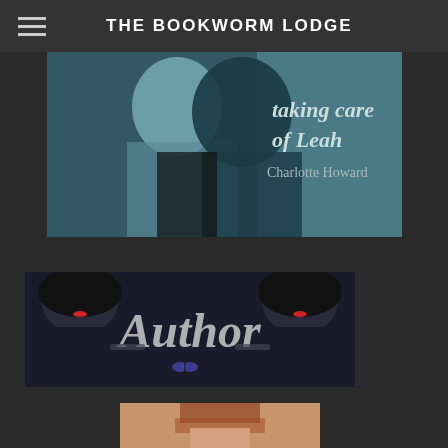THE BOOKWORM LODGE
[Figure (photo): Book cover for 'Taking Care of Leah' by Charlotte Howard, showing two women in an intimate pose with teal tones]
[Figure (photo): Author banner image with two women with black hair holding guns flanking the word 'Author' in silver script with a small butterfly at the bottom]
[Figure (photo): Partial photo of a person with red hair, cropped at the bottom of the page]